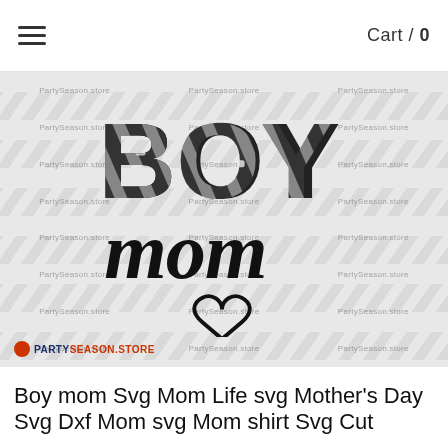Cart / 0
[Figure (illustration): Product listing image for 'Boy Mom SVG' digital file. Shows bold distressed striped text 'BOY' on top and cursive script 'mom' below with a heart outline, on a watermarked background repeating 'PartySeason.store'. PartySeason.store logo in bottom-left corner of image.]
Boy mom Svg Mom Life svg Mother's Day Svg Dxf Mom svg Mom shirt Svg Cut